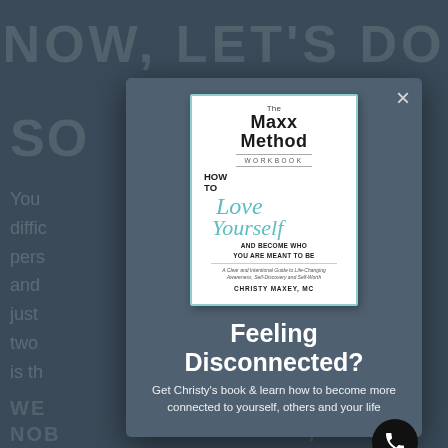[Figure (screenshot): Website popup modal showing a book cover for 'The Maxx Method Workbook: How to Love Yourself and Become Who You Are Meant to Be' by Christy Maxey, MC, with heading 'Feeling Disconnected?' and subtext about getting the book.]
Feeling Disconnected?
Get Christy's book & learn how to become more connected to yourself, others and your life